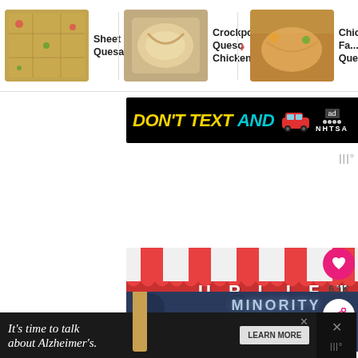[Figure (screenshot): Recipe carousel showing Sheet Pan Quesadillas, Crockpot Queso Chicken..., and Chicken Fa... Quesadilla... with food thumbnail images and right arrow navigation]
[Figure (screenshot): NHTSA advertisement banner: DON'T TEXT AND [car emoji] with ad badge and NHTSA logo. Black background with yellow and cyan text.]
[Figure (screenshot): UPLIFT Minority Owned Businesses advertisement with red and white striped awning design on dark blue background]
[Figure (screenshot): Alzheimer's Association advertisement: It's time to talk about Alzheimer's. with LEARN MORE button. Dark background.]